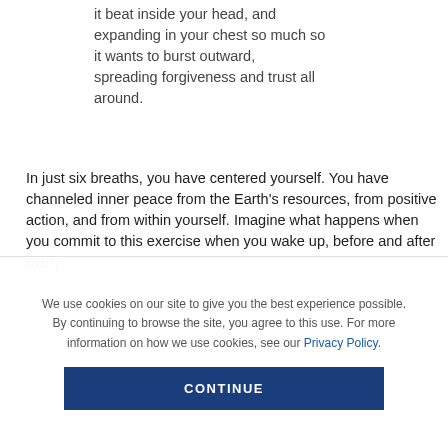it beat inside your head, and expanding in your chest so much so it wants to burst outward, spreading forgiveness and trust all around.
In just six breaths, you have centered yourself. You have channeled inner peace from the Earth's resources, from positive action, and from within yourself. Imagine what happens when you commit to this exercise when you wake up, before and after every
We use cookies on our site to give you the best experience possible. By continuing to browse the site, you agree to this use. For more information on how we use cookies, see our Privacy Policy.
CONTINUE